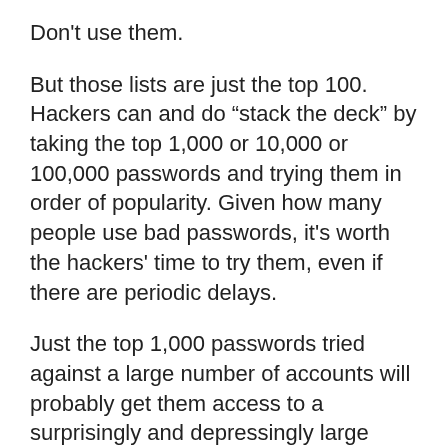Don't use them.
But those lists are just the top 100. Hackers can and do “stack the deck” by taking the top 1,000 or 10,000 or 100,000 passwords and trying them in order of popularity. Given how many people use bad passwords, it's worth the hackers' time to try them, even if there are periodic delays.
Just the top 1,000 passwords tried against a large number of accounts will probably get them access to a surprisingly and depressingly large number of accounts.